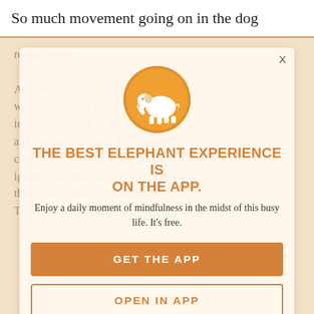So much movement going on in the dog
rescue world.

And yes, people are visiting shelters—when they bother to bring the dogs there instead of driving to the nether and disease—animals. It's the control of a vulnerable animal after willfully ignoring the need to spay and neuter and thus prevent their birth in the first place. This is not much better than a puppy shop.
[Figure (logo): Circular orange badge with a white elephant silhouette in the center]
THE BEST ELEPHANT EXPERIENCE IS ON THE APP.
Enjoy a daily moment of mindfulness in the midst of this busy life. It's free.
GET THE APP
OPEN IN APP